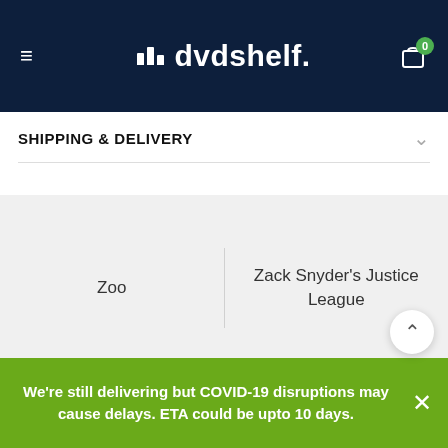dvdshelf.
SHIPPING & DELIVERY
Zoo
Zack Snyder's Justice League
DVD GENRE
Sitcom
MORE GENRE
Historical
We're still delivering but COVID-19 disruptions may cause delays. ETA could be upto 10 days.